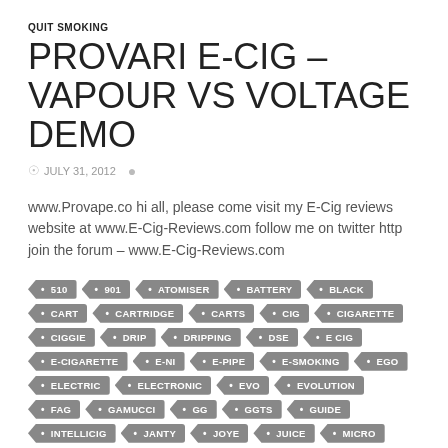QUIT SMOKING
PROVARI E-CIG – VAPOUR VS VOLTAGE DEMO
JULY 31, 2012
www.Provape.co hi all, please come visit my E-Cig reviews website at www.E-Cig-Reviews.com follow me on twitter http join the forum – www.E-Cig-Reviews.com
510
901
ATOMISER
BATTERY
BLACK
CART
CARTRIDGE
CARTS
CIG
CIGARETTE
CIGGIE
DRIP
DRIPPING
DSE
E CIG
E-CIGARETTE
E-NI
E-PIPE
E-SMOKING
EGO
ELECTRIC
ELECTRONIC
EVO
EVOLUTION
FAG
GAMUCCI
GG
GGTS
GUIDE
INTELLICIG
JANTY
JOYE
JUICE
MICRO
MINI
MIRAGE
MOD
PIPE
REVIEW
REVIEWS
RINGS